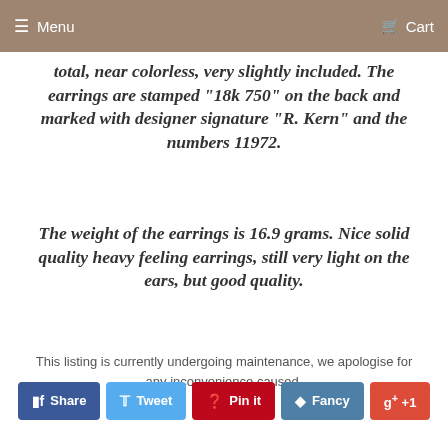≡ Menu   🛒 Cart
total, near colorless, very slightly included. The earrings are stamped "18k 750" on the back and marked with designer signature "R. Kern" and the numbers 11972.
The weight of the earrings is 16.9 grams. Nice solid quality heavy feeling earrings, still very light on the ears, but good quality.
This listing is currently undergoing maintenance, we apologise for any inconvenience caused.
Share  Tweet  Pin it  Fancy  +1